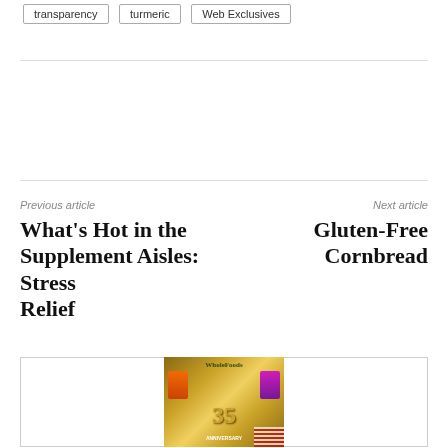transparency
turmeric
Web Exclusives
Previous article
What’s Hot in the Supplement Aisles: Stress Relief
Next article
Gluten-Free Cornbread
[Figure (photo): WholeFoods magazine 35th Anniversary cover]